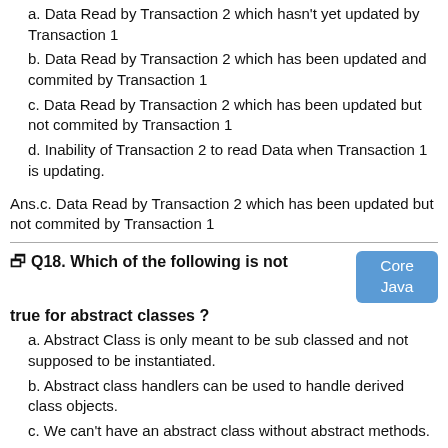a. Data Read by Transaction 2 which hasn't yet updated by Transaction 1
b. Data Read by Transaction 2 which has been updated and commited by Transaction 1
c. Data Read by Transaction 2 which has been updated but not commited by Transaction 1
d. Inability of Transaction 2 to read Data when Transaction 1 is updating.
Ans.c. Data Read by Transaction 2 which has been updated but not commited by Transaction 1
Q18. Which of the following is not true for abstract classes ?
a. Abstract Class is only meant to be sub classed and not supposed to be instantiated.
b. Abstract class handlers can be used to handle derived class objects.
c. We can't have an abstract class without abstract methods.
d. Abstract class has member elements.